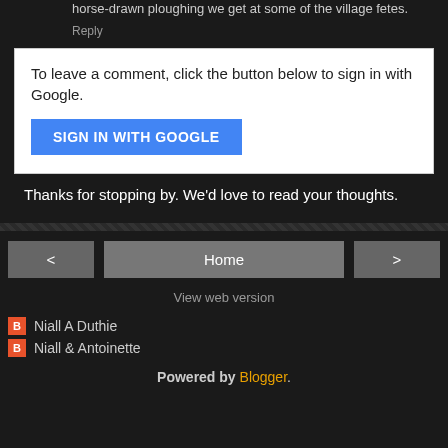horse-drawn ploughing we get at some of the village fetes.
Reply
To leave a comment, click the button below to sign in with Google.
SIGN IN WITH GOOGLE
Thanks for stopping by. We'd love to read your thoughts.
Home
View web version
Niall A Duthie
Niall & Antoinette
Powered by Blogger.